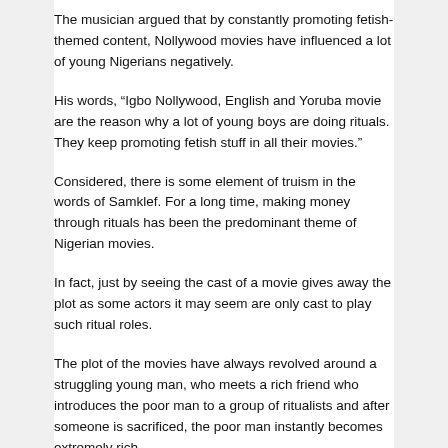The musician argued that by constantly promoting fetish-themed content, Nollywood movies have influenced a lot of young Nigerians negatively.
His words, “Igbo Nollywood, English and Yoruba movie are the reason why a lot of young boys are doing rituals. They keep promoting fetish stuff in all their movies.”
Considered, there is some element of truism in the words of Samklef. For a long time, making money through rituals has been the predominant theme of Nigerian movies.
In fact, just by seeing the cast of a movie gives away the plot as some actors it may seem are only cast to play such ritual roles.
The plot of the movies have always revolved around a struggling young man, who meets a rich friend who introduces the poor man to a group of ritualists and after someone is sacrificed, the poor man instantly becomes extremely rich.